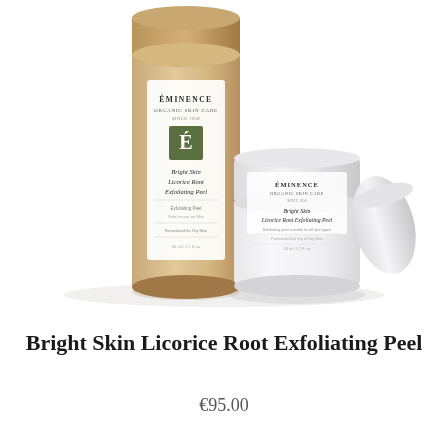[Figure (photo): Éminence Organic Skin Care product photo showing a cylindrical kraft paper tube packaging and a white glass jar with lid for Bright Skin Licorice Root Exfoliating Peel, on a white background.]
Bright Skin Licorice Root Exfoliating Peel
€95.00